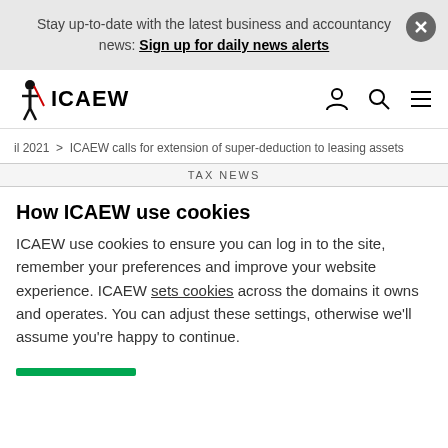Stay up-to-date with the latest business and accountancy news: Sign up for daily news alerts
ICAEW
il 2021 > ICAEW calls for extension of super-deduction to leasing assets
TAX NEWS
How ICAEW use cookies
ICAEW use cookies to ensure you can log in to the site, remember your preferences and improve your website experience. ICAEW sets cookies across the domains it owns and operates. You can adjust these settings, otherwise we'll assume you're happy to continue.